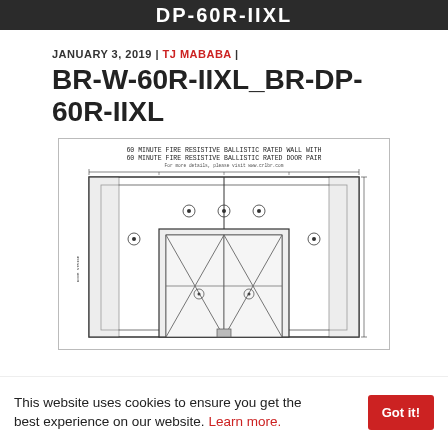DP-60R-IIXL
JANUARY 3, 2019 | TJ MABABA |
BR-W-60R-IIXL_BR-DP-60R-IIXL
[Figure (engineering-diagram): 60 MINUTE FIRE RESISTIVE BALLISTIC RATED WALL WITH 60 MINUTE FIRE RESISTIVE BALLISTIC RATED DOOR PAIR — front elevation CAD drawing showing wall framing, door pair with X-brace detail, and dimension annotations]
This website uses cookies to ensure you get the best experience on our website. Learn more.